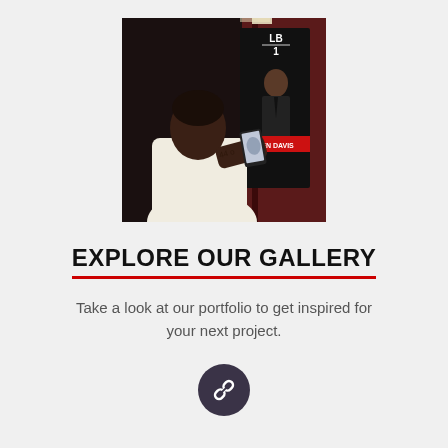[Figure (photo): Person holding a smartphone up toward a large printed display showing a football player in a suit with 'LB 1' text and a red banner, in a dark room setting.]
EXPLORE OUR GALLERY
Take a look at our portfolio to get inspired for your next project.
[Figure (illustration): Dark circular icon button with a chain/link symbol inside, indicating a hyperlink or gallery link.]